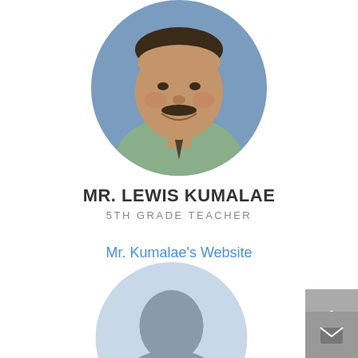[Figure (photo): Circular profile photo of Mr. Lewis Kumalae, a smiling man with a mustache wearing a green striped shirt and dark tie, against a blue background]
MR. LEWIS KUMALAE
5TH GRADE TEACHER
Mr. Kumalae's Website
[Figure (illustration): Email/envelope icon in gray]
[Figure (photo): Partial circular profile photo visible at bottom of page]
[Figure (illustration): Gray button with up arrow chevron on right side]
[Figure (illustration): Gray button with envelope/mail icon on right side]